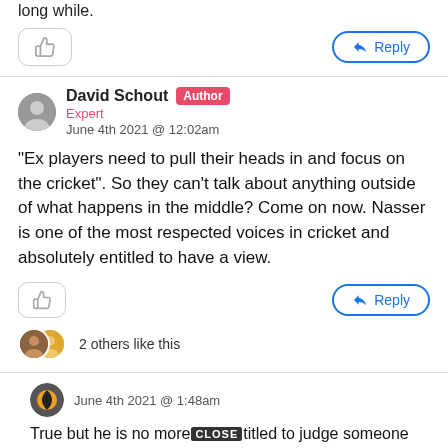long while.
👍 Reply
David Schout [Author] Expert
June 4th 2021 @ 12:02am
“Ex players need to pull their heads in and focus on the cricket”. So they can’t talk about anything outside of what happens in the middle? Come on now. Nasser is one of the most respected voices in cricket and absolutely entitled to have a view.
👍 Reply
2 others like this
June 4th 2021 @ 1:48am
True but he is no more entitled to judge someone